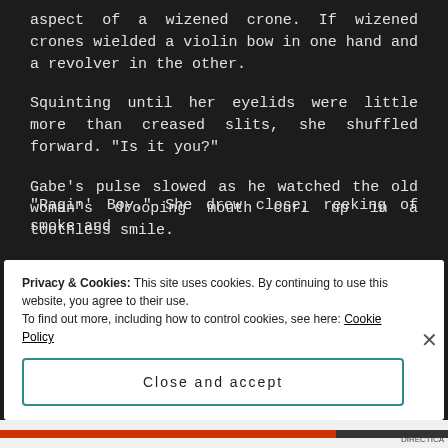aspect of a wizened crone. If wizened crones wielded a violin bow in one hand and a revolver in the other.
Squinting until her eyelids were little more than creased slits, she shuffled forward. "Is it you?"
Gabe's pulse slowed as he watched the old woman's drooping mouth curl up in a toothless smile.
"Ragin' Boy." She drew close, reeking of smoke and
Privacy & Cookies: This site uses cookies. By continuing to use this website, you agree to their use.
To find out more, including how to control cookies, see here: Cookie Policy
Close and accept